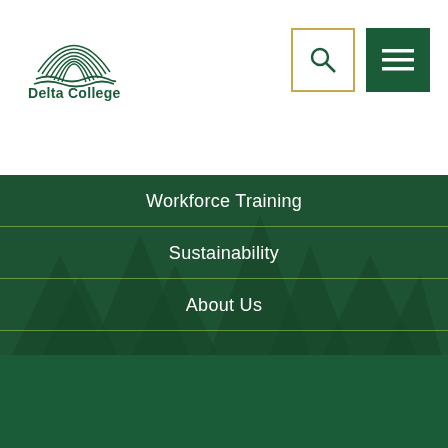[Figure (logo): Delta College logo with arch lines graphic and text 'Delta College' in dark green, top left header]
[Figure (other): Search icon in outlined box with gold/yellow border, top right header]
[Figure (other): Hamburger menu icon (three horizontal lines) in solid dark green box, top right header]
Workforce Training
Sustainability
About Us
[Figure (logo): Large white Delta College logo with arch/wave graphic on dark green background]
Delta College
1961 Delta Road